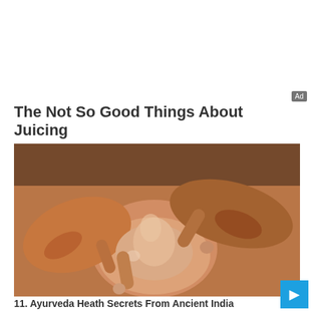The Not So Good Things About Juicing
Herbeauty
[Figure (photo): Close-up photo of hands performing a massage on a foot, skin appears oily]
11. Ayurveda Heath Secrets From Ancient India